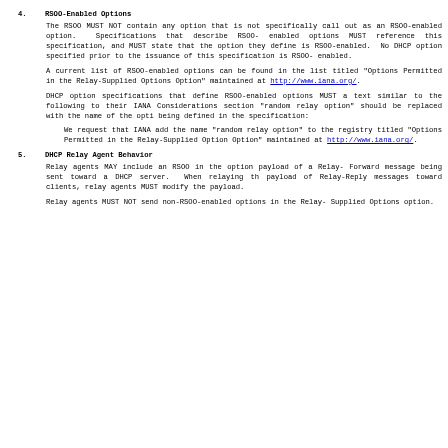4.   RSOO-Enabled Options
The RSOO MUST NOT contain any option that is not specifically called out as an RSOO-enabled option.  Specifications that describe RSOO-enabled options MUST reference this specification, and MUST state that the option they define is RSOO-enabled.  No DHCP option specified prior to the issuance of this specification is RSOO-enabled.
A current list of RSOO-enabled options can be found in the list titled "Options Permitted in the Relay-Supplied Options Option" maintained at http://www.iana.org/.
DHCP option specifications that define RSOO-enabled options MUST add text similar to the following to their IANA Considerations section: "random relay option" should be replaced with the name of the option being defined in the specification:
We request that IANA add the name "random relay option" to the registry titled "Options Permitted in the Relay-Supplied Options Option" maintained at http://www.iana.org/.
5.   DHCP Relay Agent Behavior
Relay agents MAY include an RSOO in the option payload of a Relay-Forward message being sent toward a DHCP server.  When relaying the payload of Relay-Reply messages toward clients, relay agents MUST NOT modify the payload.
Relay agents MUST NOT send non-RSOO-enabled options in the Relay-Supplied Options option.